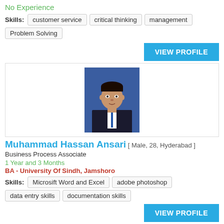No Experience
Skills: customer service   critical thinking   management   Problem Solving
VIEW PROFILE
[Figure (photo): Headshot photo of Muhammad Hassan Ansari, male, wearing a dark suit with tie, against blue background]
Muhammad Hassan Ansari [ Male, 28, Hyderabad ]
Business Process Associate
1 Year and 3 Months
BA - University Of Sindh, Jamshoro
Skills: Microsift Word and Excel   adobe photoshop   data entry skills   documentation skills
VIEW PROFILE
[Figure (photo): Small profile thumbnail for Owais Hayat Khan]
Owais Hayat Khan [ Male, 25, Karachi ]